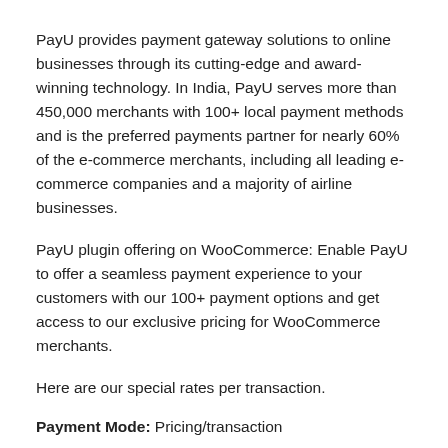PayU provides payment gateway solutions to online businesses through its cutting-edge and award-winning technology. In India, PayU serves more than 450,000 merchants with 100+ local payment methods and is the preferred payments partner for nearly 60% of the e-commerce merchants, including all leading e-commerce companies and a majority of airline businesses.
PayU plugin offering on WooCommerce: Enable PayU to offer a seamless payment experience to your customers with our 100+ payment options and get access to our exclusive pricing for WooCommerce merchants.
Here are our special rates per transaction.
Payment Mode: Pricing/transaction
Net Banking: 1.95%